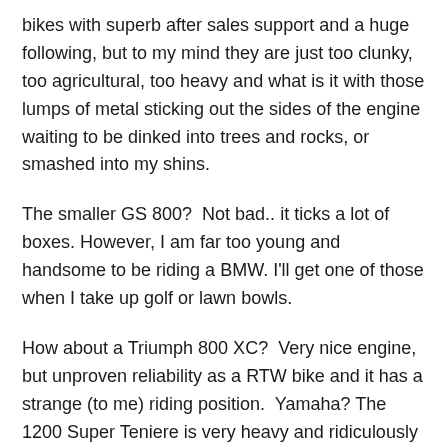bikes with superb after sales support and a huge following, but to my mind they are just too clunky, too agricultural, too heavy and what is it with those lumps of metal sticking out the sides of the engine waiting to be dinked into trees and rocks, or smashed into my shins.
The smaller GS 800?  Not bad.. it ticks a lot of boxes. However, I am far too young and handsome to be riding a BMW. I'll get one of those when I take up golf or lawn bowls.
How about a Triumph 800 XC?  Very nice engine, but unproven reliability as a RTW bike and it has a strange (to me) riding position.  Yamaha? The 1200 Super Teniere is very heavy and ridiculously expensive for what it is and the lighter XT 660,  a very competent